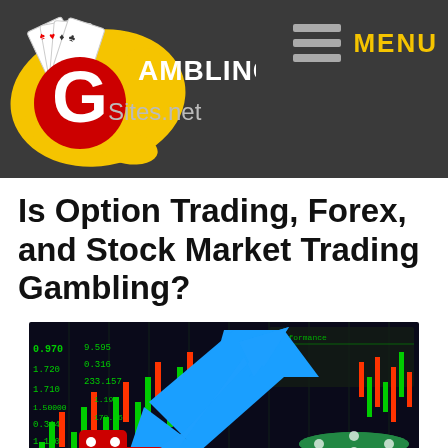[Figure (logo): GamblingSites.net logo with playing cards, yellow splash, red G letter]
[Figure (other): Hamburger menu icon with three horizontal gray bars and yellow MENU text]
Is Option Trading, Forex, and Stock Market Trading Gambling?
[Figure (photo): Stock market trading screen with green candlestick charts, a large blue arrow pointing up-right, red dice, and colorful casino chips]